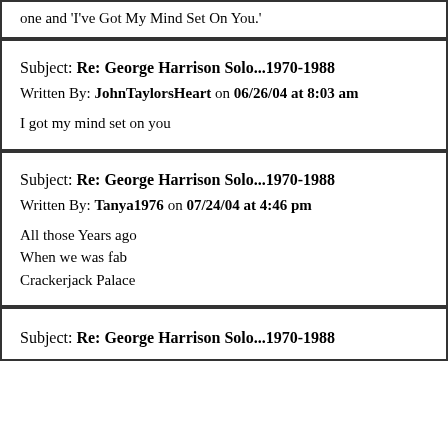one and 'I've Got My Mind Set On You.'
Subject: Re: George Harrison Solo...1970-1988
Written By: JohnTaylorsHeart on 06/26/04 at 8:03 am
I got my mind set on you
Subject: Re: George Harrison Solo...1970-1988
Written By: Tanya1976 on 07/24/04 at 4:46 pm
All those Years ago
When we was fab
Crackerjack Palace
Subject: Re: George Harrison Solo...1970-1988